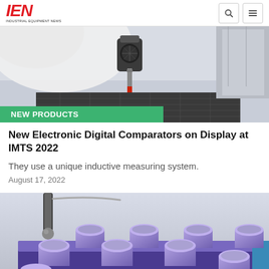IEN - INDUSTRIAL EQUIPMENT NEWS
[Figure (photo): Close-up photo of a CNC machine with a red-tipped probe/stylus measuring a dark metallic workpiece on a grid surface]
NEW PRODUCTS
New Electronic Digital Comparators on Display at IMTS 2022
They use a unique inductive measuring system.
August 17, 2022
[Figure (illustration): 3D rendering/illustration of a probe measuring cylindrical purple metallic pegs arranged in a grid on a blue platform]